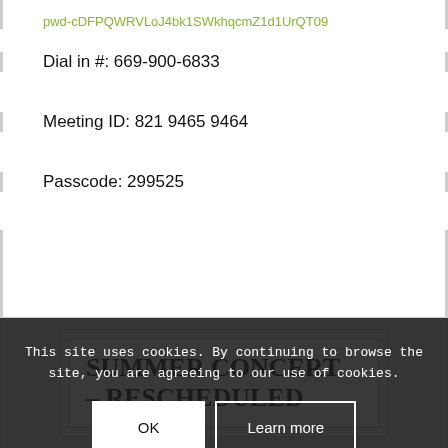pwd-cDFPQWRVLoJ4bk1SWkhqcmZ1d1UrQT09
Dial in #: 669-900-6833
Meeting ID: 821 9465 9464
Passcode: 299525
SUMMER CONCERT – RESCHEDULED
This site uses cookies. By continuing to browse the site, you are agreeing to our use of cookies.
OK
Learn more